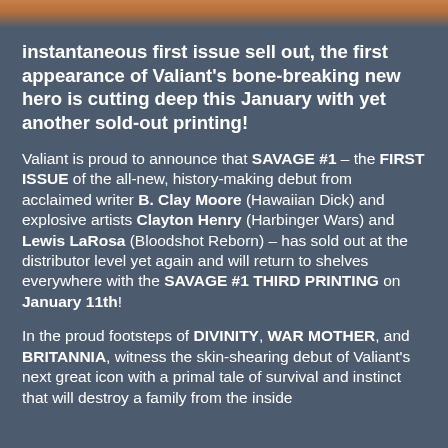[Figure (photo): Partial image strip at top of page showing a person, cropped]
instantaneous first issue sell out, the first appearance of Valiant's bone-breaking new hero is cutting deep this January with yet another sold-out printing!
Valiant is proud to announce that SAVAGE #1 – the FIRST ISSUE of the all-new, history-making debut from acclaimed writer B. Clay Moore (Hawaiian Dick) and explosive artists Clayton Henry (Harbinger Wars) and Lewis LaRosa (Bloodshot Reborn) – has sold out at the distributor level yet again and will return to shelves everywhere with the SAVAGE #1 THIRD PRINTING on January 11th!
In the proud footsteps of DIVINITY, WAR MOTHER, and BRITANNIA, witness the skin-shearing debut of Valiant's next great icon with a primal tale of survival and instinct that will destroy a family from the inside